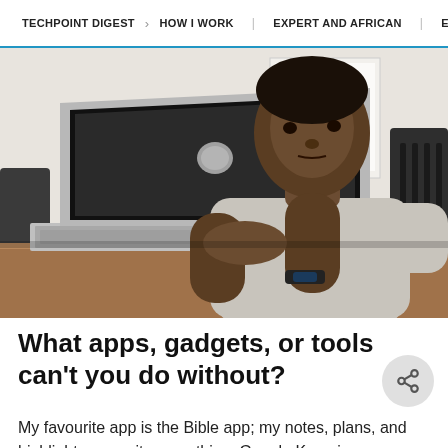TECHPOINT DIGEST | HOW I WORK | EXPERT AND AFRICAN | EQUITY
[Figure (photo): A young Black man in a grey t-shirt sitting at a wooden desk with a MacBook laptop, resting his chin on his clasped hands, with a whiteboard visible in the background.]
What apps, gadgets, or tools can't you do without?
My favourite app is the Bible app; my notes, plans, and highlights are quite something. Google Keep is